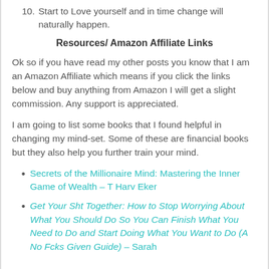10. Start to Love yourself and in time change will naturally happen.
Resources/ Amazon Affiliate Links
Ok so if you have read my other posts you know that I am an Amazon Affiliate which means if you click the links below and buy anything from Amazon I will get a slight commission. Any support is appreciated.
I am going to list some books that I found helpful in changing my mind-set. Some of these are financial books but they also help you further train your mind.
Secrets of the Millionaire Mind: Mastering the Inner Game of Wealth – T Harv Eker
Get Your Sht Together: How to Stop Worrying About What You Should Do So You Can Finish What You Need to Do and Start Doing What You Want to Do (A No Fcks Given Guide) – Sarah